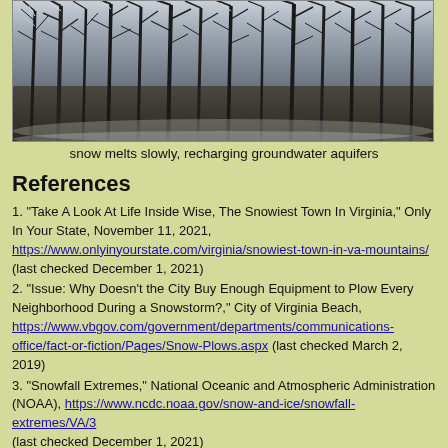[Figure (photo): Winter forest scene with snow-covered bare trees against a grey sky]
snow melts slowly, recharging groundwater aquifers
References
1. "Take A Look At Life Inside Wise, The Snowiest Town In Virginia," Only In Your State, November 11, 2021, https://www.onlyinyourstate.com/virginia/snowiest-town-in-va-mountains/ (last checked December 1, 2021)
2. "Issue: Why Doesn't the City Buy Enough Equipment to Plow Every Neighborhood During a Snowstorm?," City of Virginia Beach, https://www.vbgov.com/government/departments/communications-office/fact-or-fiction/Pages/Snow-Plows.aspx (last checked March 2, 2019)
3. "Snowfall Extremes," National Oceanic and Atmospheric Administration (NOAA), https://www.ncdc.noaa.gov/snow-and-ice/snowfall-extremes/VA/3 (last checked December 1, 2021)
4. "Remembering the Blizzard of 1996 that paralyzed Washington, D.C.," Washington Post, January 6, 2016, https://www.washingtonpost.com/news/capital-weather-gang/wp/2016/01/06/remembering-the-blizzard-of-1996-that-paralyzed-washington-d-c/ (last checked December 1, 2021)
5. "Snowmageddon: One year later...," Washington Post, February 4, 2011,